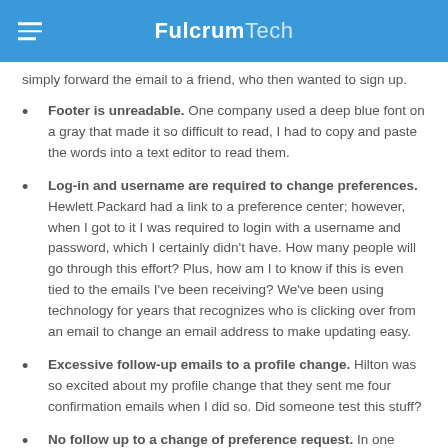FulcrumTech
simply forward the email to a friend, who then wanted to sign up.
Footer is unreadable. One company used a deep blue font on a gray that made it so difficult to read, I had to copy and paste the words into a text editor to read them.
Log-in and username are required to change preferences. Hewlett Packard had a link to a preference center; however, when I got to it I was required to login with a username and password, which I certainly didn't have. How many people will go through this effort? Plus, how am I to know if this is even tied to the emails I've been receiving? We've been using technology for years that recognizes who is clicking over from an email to change an email address to make updating easy.
Excessive follow-up emails to a profile change. Hilton was so excited about my profile change that they sent me four confirmation emails when I did so. Did someone test this stuff?
No follow up to a change of preference request. In one case, I was promised a link with instructions for how to